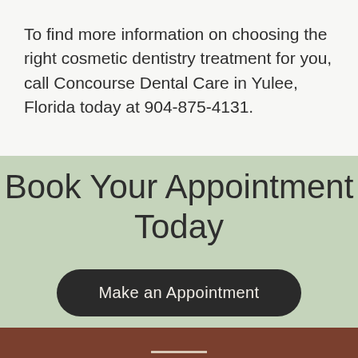To find more information on choosing the right cosmetic dentistry treatment for you, call Concourse Dental Care in Yulee, Florida today at 904-875-4131.
Book Your Appointment Today
Make an Appointment